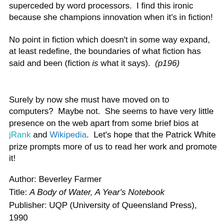superceded by word processors.  I find this ironic because she champions innovation when it's in fiction!
No point in fiction which doesn't in some way expand, at least redefine, the boundaries of what fiction has said and been (fiction is what it says).  (p196)
Surely by now she must have moved on to computers?  Maybe not.  She seems to have very little presence on the web apart from some brief bios at jRank and Wikipedia.  Let's hope that the Patrick White prize prompts more of us to read her work and promote it!
Author: Beverley Farmer
Title: A Body of Water, A Year's Notebook
Publisher: UQP (University of Queensland Press), 1990
ISBN: 0702222542
Source: Kingston Library